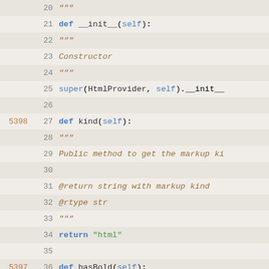[Figure (screenshot): Python source code editor showing lines 20-49 of a class definition with methods __init__, kind, hasBold, and bold, with line numbers, git blame annotations, syntax highlighting on a light beige background]